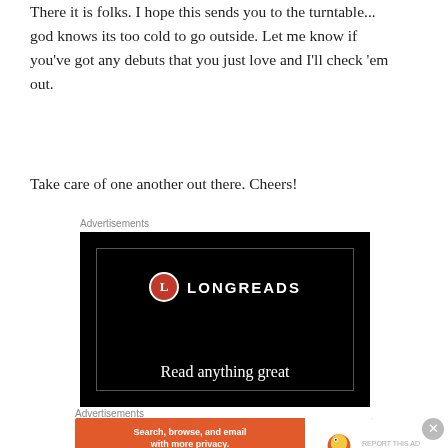R&B. Heavy, spirited, I love the Who.
There it is folks. I hope this sends you to the turntable... god knows its too cold to go outside. Let me know if you've got any debuts that you just love and I'll check 'em out.
Take care of one another out there. Cheers!
Advertisements
[Figure (other): Longreads advertisement banner on black background with logo and tagline 'Read anything great']
Advertisements
[Figure (other): DuckDuckGo advertisement: Search, browse, and email with more privacy. All in One Free App]